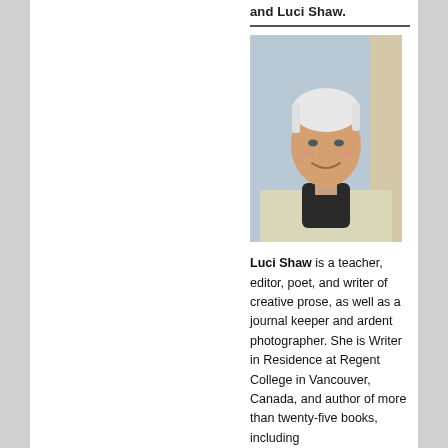and Luci Shaw.
[Figure (photo): Headshot portrait of Luci Shaw, a woman with short white hair, smiling, wearing a light-colored jacket with a dark scarf.]
Luci Shaw is a teacher, editor, poet, and writer of creative prose, as well as a journal keeper and ardent photographer. She is Writer in Residence at Regent College in Vancouver, Canada, and author of more than twenty-five books, including